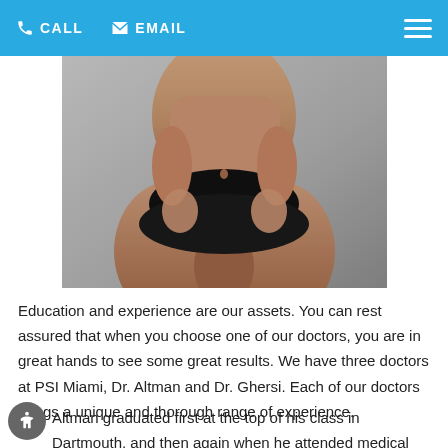CALL   EMAIL
[Figure (photo): Close-up photo of a person's torso wearing black bikini bottoms, used for a plastic surgery clinic website]
Education and experience are our assets. You can rest assured that when you choose one of our doctors, you are in great hands to see some great results. We have three doctors at PSI Miami, Dr. Altman and Dr. Ghersi. Each of our doctors brings a unique and thorough range of experience.
Altman graduated first at the top of his class in Dartmouth, and then again when he attended medical